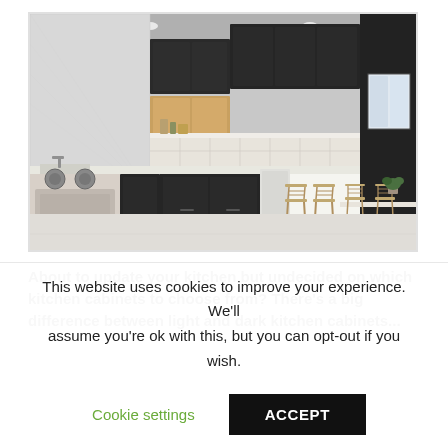[Figure (photo): Modern kitchen interior with dark charcoal and light wood cabinets, white countertops, bar stools at an island, dining table with chairs, and stainless steel appliances.]
About to update your kitchen but undecided on which kitchen cabinets to choose from? There's a big difference between light and dark kitchen cabinets...
This website uses cookies to improve your experience. We'll assume you're ok with this, but you can opt-out if you wish.
Cookie settings
ACCEPT